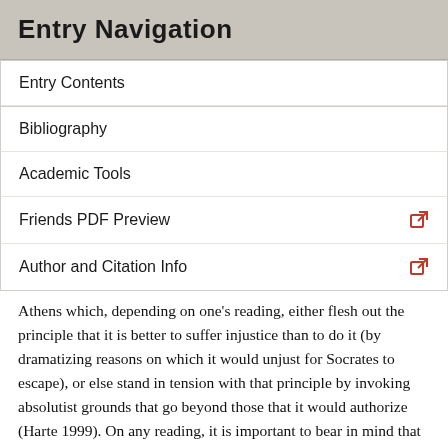Entry Navigation
Entry Contents
Bibliography
Academic Tools
Friends PDF Preview
Author and Citation Info
Athens which, depending on one's reading, either flesh out the principle that it is better to suffer injustice than to do it (by dramatizing reasons on which it would unjust for Socrates to escape), or else stand in tension with that principle by invoking absolutist grounds that go beyond those that it would authorize (Harte 1999). On any reading, it is important to bear in mind that Socrates is choosing to obey a jury verdict that has commanded him to suffer what is arguably an injustice but not to commit one.
The “Laws of Athens” appeal to a kind of social contract